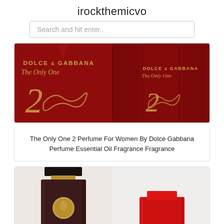irockthemicvo
Search and hit enter..
[Figure (photo): Two images of Dolce & Gabbana 'The Only One 2' perfume bottle with red background and gold script lettering]
The Only One 2 Perfume For Women By Dolce Gabbana Perfume Essential Oil Fragrance Fragrance
[Figure (photo): Two perfume bottles partially visible: a dark brown/maroon square bottle with gold coin medallion on the left, and a red bottle cap on the right]